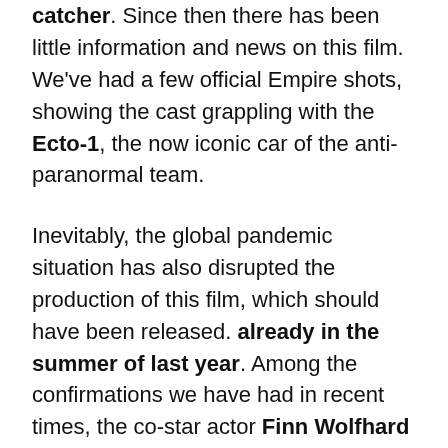catcher. Since then there has been little information and news on this film. We've had a few official Empire shots, showing the cast grappling with the Ecto-1, the now iconic car of the anti-paranormal team.
Inevitably, the global pandemic situation has also disrupted the production of this film, which should have been released. already in the summer of last year. Among the confirmations we have had in recent times, the co-star actor Finn Wolfhard he reassured the audience by clarifying that this project will remain faithful to the series. This is the third chapter, a sequel to the first two released in the 80s, if we exclude the 2016 reboot.